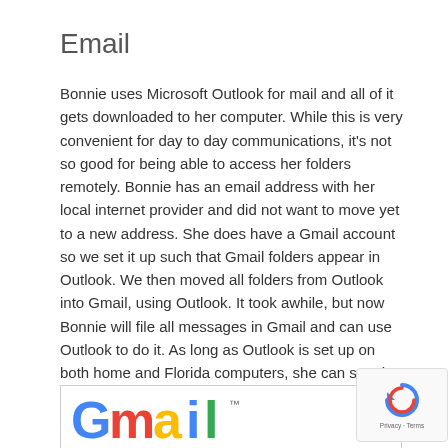Email
Bonnie uses Microsoft Outlook for mail and all of it gets downloaded to her computer. While this is very convenient for day to day communications, it's not so good for being able to access her folders remotely. Bonnie has an email address with her local internet provider and did not want to move yet to a new address. She does have a Gmail account so we set it up such that Gmail folders appear in Outlook. We then moved all folders from Outlook into Gmail, using Outlook. It took awhile, but now Bonnie will file all messages in Gmail and can use Outlook to do it. As long as Outlook is set up on both home and Florida computers, she can see the same Gmail folders.
[Figure (logo): Gmail logo in a bordered box]